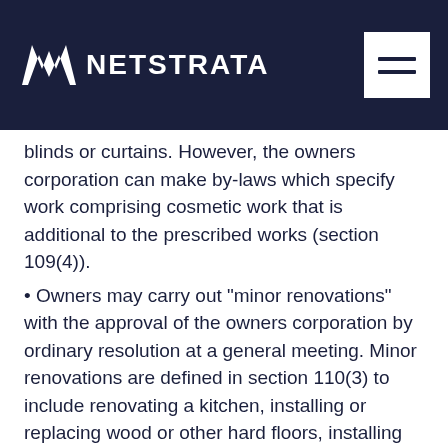NETSTRATA
blinds or curtains. However, the owners corporation can make by-laws which specify work comprising cosmetic work that is additional to the prescribed works (section 109(4)).
Owners may carry out “minor renovations” with the approval of the owners corporation by ordinary resolution at a general meeting. Minor renovations are defined in section 110(3) to include renovating a kitchen, installing or replacing wood or other hard floors, installing or replacing wiring or cabling or power access points, and...